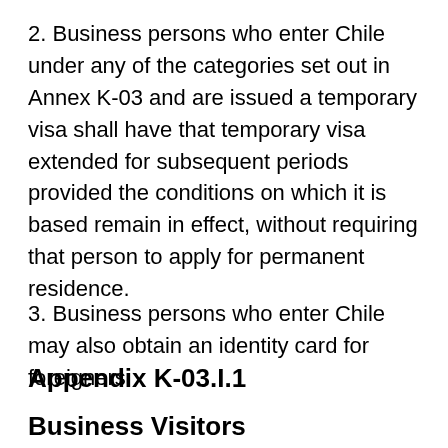2. Business persons who enter Chile under any of the categories set out in Annex K-03 and are issued a temporary visa shall have that temporary visa extended for subsequent periods provided the conditions on which it is based remain in effect, without requiring that person to apply for permanent residence.
3. Business persons who enter Chile may also obtain an identity card for foreigners.
Appendix K-03.I.1
Business Visitors